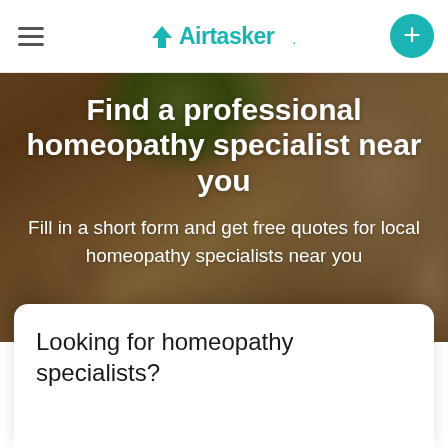Airtasker
Find a professional homeopathy specialist near you
Fill in a short form and get free quotes for local homeopathy specialists near you
Looking for homeopathy specialists?